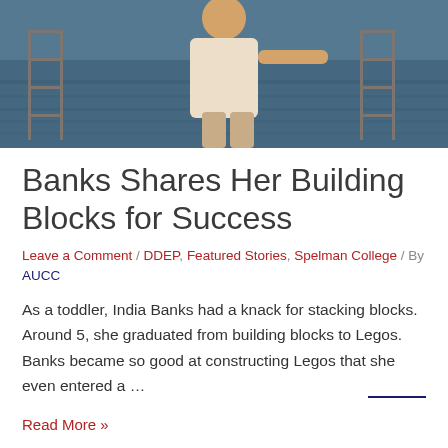[Figure (photo): Photo of a woman in a white crochet top standing on a waterfront dock or pier, water visible in background, warm evening light]
Banks Shares Her Building Blocks for Success
Leave a Comment / DDEP, Featured Stories, Spelman College / By AUCC
As a toddler, India Banks had a knack for stacking blocks. Around 5, she graduated from building blocks to Legos. Banks became so good at constructing Legos that she even entered a …
Read More »